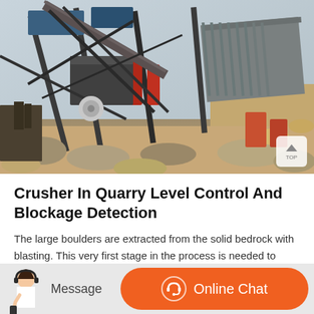[Figure (photo): Aerial or angled view of a quarry crushing plant with industrial machinery, conveyor structures, metal scaffolding, and rocky terrain in the background.]
Crusher In Quarry Level Control And Blockage Detection
The large boulders are extracted from the solid bedrock with blasting. This very first stage in the process is needed to enable these very large rocks to be crushed by smaller, secondary jaw and roller
Message
Online Chat